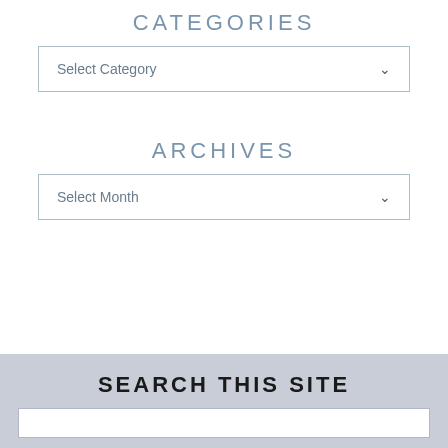CATEGORIES
Select Category
ARCHIVES
Select Month
SEARCH THIS SITE